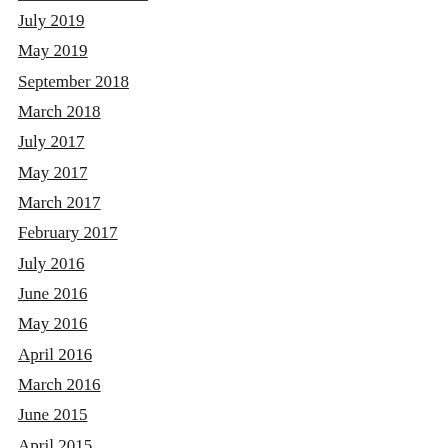July 2019
May 2019
September 2018
March 2018
July 2017
May 2017
March 2017
February 2017
July 2016
June 2016
May 2016
April 2016
March 2016
June 2015
April 2015